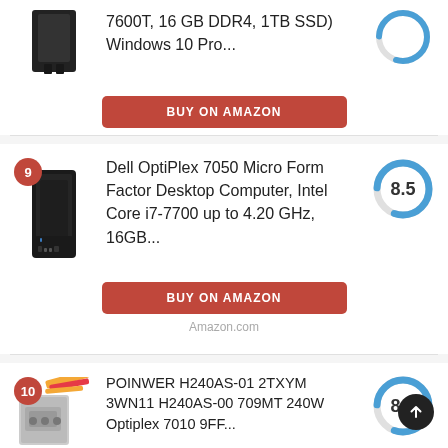7600T, 16 GB DDR4, 1TB SSD) Windows 10 Pro...
BUY ON AMAZON
Amazon.com
Dell OptiPlex 7050 Micro Form Factor Desktop Computer, Intel Core i7-7700 up to 4.20 GHz, 16GB...
[Figure (other): Donut/ring score chart showing 8.5]
BUY ON AMAZON
Amazon.com
POINWER H240AS-01 2TXYM 3WN11 H240AS-00 709MT 240W Optiplex 7010 9FF...
[Figure (other): Donut/ring score chart showing 8.5]